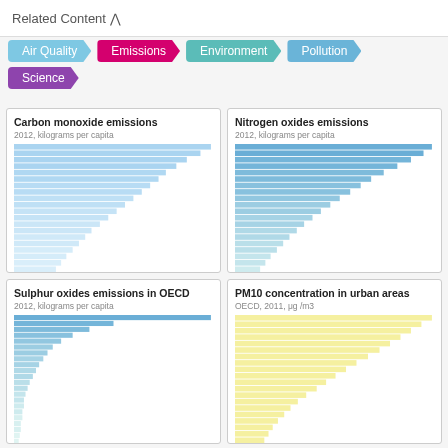Related Content
Air Quality
Emissions
Environment
Pollution
Science
[Figure (bar-chart): 2012, kilograms per capita]
[Figure (bar-chart): 2012, kilograms per capita]
[Figure (bar-chart): 2012, kilograms per capita]
[Figure (bar-chart): OECD, 2011, μg /m3]